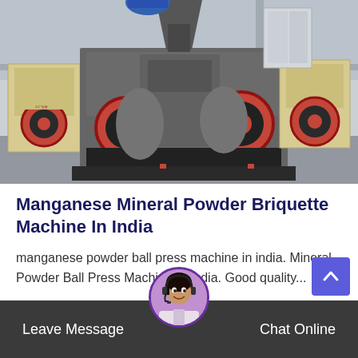[Figure (photo): Industrial machinery in a factory/warehouse setting: large gray metal briquette press machines with red and black flywheel discs, and beige jaw crusher machines in the background. Multiple machines visible on a concrete floor inside a large industrial building.]
Manganese Mineral Powder Briquette Machine In India
manganese powder ball press machine in india. Mineral Powder Ball Press Machine In India. Good quality...
Leave Message   Chat Online